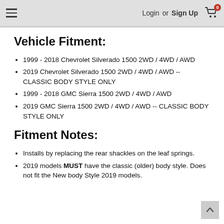Login or Sign Up  [cart: 0]
Vehicle Fitment:
1999 - 2018 Chevrolet Silverado 1500 2WD / 4WD / AWD
2019 Chevrolet Silverado 1500 2WD / 4WD / AWD -- CLASSIC BODY STYLE ONLY
1999 - 2018 GMC Sierra 1500 2WD / 4WD / AWD
2019 GMC Sierra 1500 2WD / 4WD / AWD -- CLASSIC BODY STYLE ONLY
Fitment Notes:
Installs by replacing the rear shackles on the leaf springs.
2019 models MUST have the classic (older) body style. Does not fit the New body Style 2019 models.